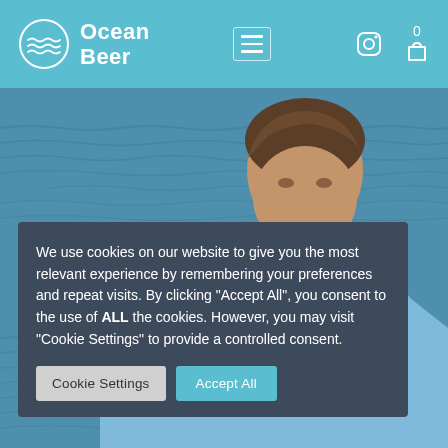Ocean Beer
[Figure (photo): Man with brown hair seen from mid-face up, wearing a light blue shirt, with ocean water in the background. Cookie consent overlay is displayed over the image.]
We use cookies on our website to give you the most relevant experience by remembering your preferences and repeat visits. By clicking “Accept All”, you consent to the use of ALL the cookies. However, you may visit “Cookie Settings” to provide a controlled consent.
Cookie Settings
Accept All